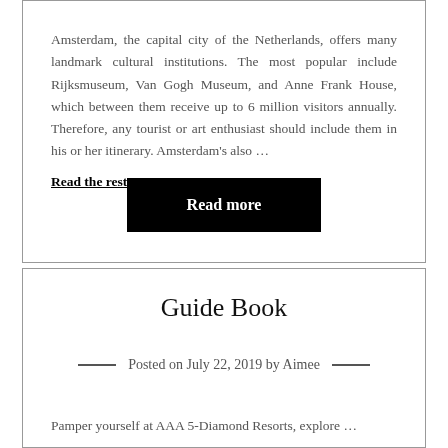Amsterdam, the capital city of the Netherlands, offers many landmark cultural institutions. The most popular include Rijksmuseum, Van Gogh Museum, and Anne Frank House, which between them receive up to 6 million visitors annually. Therefore, any tourist or art enthusiast should include them in his or her itinerary. Amsterdam's also … Read the rest
Read more
Guide Book
Posted on July 22, 2019 by Aimee
Pamper yourself at AAA 5-Diamond Resorts, explore …